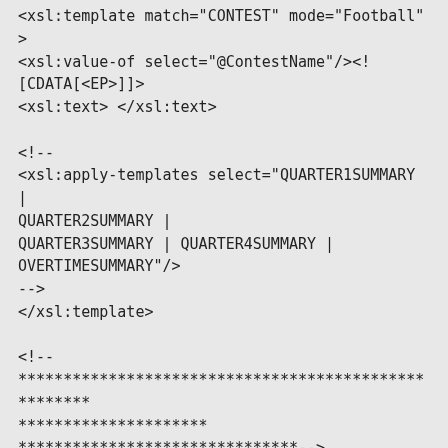<xsl:template match="CONTEST" mode="Football">
<xsl:value-of select="@ContestName"/><!--
[CDATA[<EP>]]>
<xsl:text> </xsl:text>

<!--
<xsl:apply-templates select="QUARTER1SUMMARY |
QUARTER2SUMMARY |
QUARTER3SUMMARY | QUARTER4SUMMARY |
OVERTIMESUMMARY"/>
-->
</xsl:template>

<!--*****************************************************
*********************
*******************************-->

<xsl:template match="QUARTER1SUMMARY |